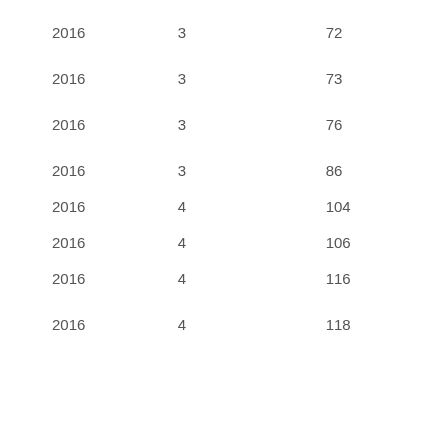| 2016 | 3 | 72 |
| 2016 | 3 | 73 |
| 2016 | 3 | 76 |
| 2016 | 3 | 86 |
| 2016 | 4 | 104 |
| 2016 | 4 | 106 |
| 2016 | 4 | 116 |
| 2016 | 4 | 118 |